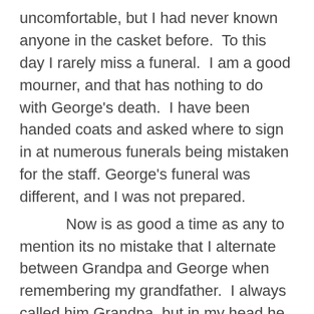uncomfortable, but I had never known anyone in the casket before.  To this day I rarely miss a funeral.  I am a good mourner, and that has nothing to do with George's death.  I have been handed coats and asked where to sign in at numerous funerals being mistaken for the staff. George's funeral was different, and I was not prepared.

Now is as good a time as any to mention its no mistake that I alternate between Grandpa and George when remembering my grandfather.  I always called him Grandpa, but in my head he was always George.  He wasn't soft in the traditional Grandpa way, and my father had always called him George.  I always wonder if he would have lived longer would I have changed my verbiage.  I doubt it, because I was his favorite, and I think he liked the words Grandpa